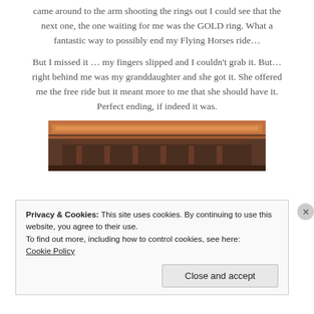came around to the arm shooting the rings out I could see that the next one, the one waiting for me was the GOLD ring. What a fantastic way to possibly end my Flying Horses ride…
But I missed it … my fingers slipped and I couldn't grab it. But… right behind me was my granddaughter and she got it. She offered me the free ride but it meant more to me that she should have it. Perfect ending, if indeed it was.
[Figure (photo): Close-up photo of a carousel ring arm mechanism with brown/red metal bars and rings visible]
Privacy & Cookies: This site uses cookies. By continuing to use this website, you agree to their use.
To find out more, including how to control cookies, see here:
Cookie Policy
Close and accept